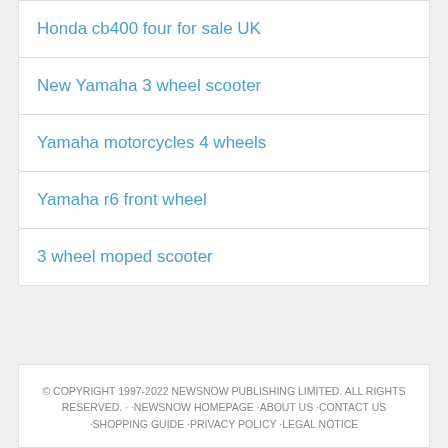Honda cb400 four for sale UK
New Yamaha 3 wheel scooter
Yamaha motorcycles 4 wheels
Yamaha r6 front wheel
3 wheel moped scooter
© COPYRIGHT 1997-2022 NEWSNOW PUBLISHING LIMITED. ALL RIGHTS RESERVED. · ·NEWSNOW HOMEPAGE ·ABOUT US ·CONTACT US ·SHOPPING GUIDE ·PRIVACY POLICY ·LEGAL NOTICE